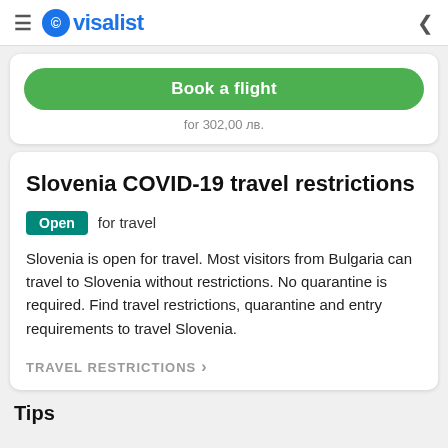visalist
Book a flight
for 302,00 лв.
Slovenia COVID-19 travel restrictions
Open for travel
Slovenia is open for travel. Most visitors from Bulgaria can travel to Slovenia without restrictions. No quarantine is required. Find travel restrictions, quarantine and entry requirements to travel Slovenia.
TRAVEL RESTRICTIONS >
Tips